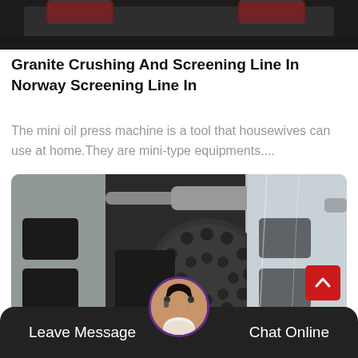[Figure (photo): Top portion of a dark industrial crushing/screening machine, partially visible at top of page]
Granite Crushing And Screening Line In Norway Screening Line In
The mini oil press machine is a tool that housewives can use at home.They are mini-type equipments....
[Figure (photo): Close-up photo of industrial crushing machine with perforated rotor, metal housing with rectangular openings, and metallic shaft]
Leave Message   Chat Online